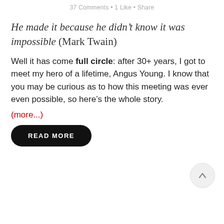37 Comments · 1 Like · Share
He made it because he didn't know it was impossible (Mark Twain)
Well it has come full circle: after 30+ years, I got to meet my hero of a lifetime, Angus Young. I know that you may be curious as to how this meeting was ever even possible, so here's the whole story.
(more...)
READ MORE